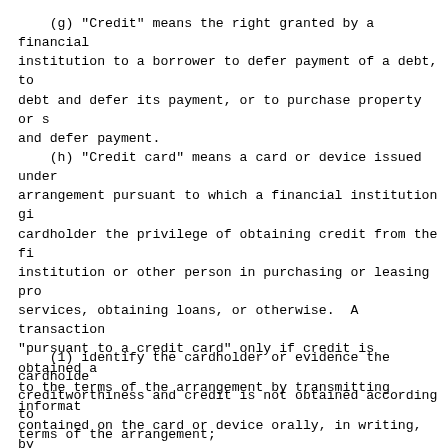(g) "Credit" means the right granted by a financial institution to a borrower to defer payment of a debt, to debt and defer its payment, or to purchase property or s and defer payment.
(h) "Credit card" means a card or device issued under arrangement pursuant to which a financial institution gi cardholder the privilege of obtaining credit from the fi institution or other person in purchasing or leasing pro services, obtaining loans, or otherwise.  A transaction "pursuant to a credit card" only if credit is obtained a to the terms of the arrangement by transmitting informat contained on the card or device orally, in writing, by mechanical or electronic methods, or in any other manner transaction is not "pursuant to a credit card" if the ca device is used solely in that transaction to:
(1) identify the cardholder or evidence the cardholde creditworthiness and credit is not obtained according to terms of the arrangement;